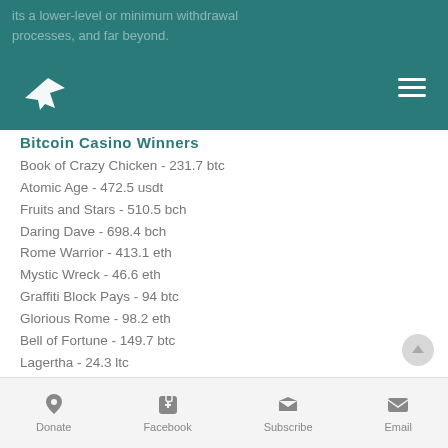its a lower-level or minimum withdrawal processes, and far beyond.
Bitcoin Casino Winners
Book of Crazy Chicken - 231.7 btc
Atomic Age - 472.5 usdt
Fruits and Stars - 510.5 bch
Daring Dave - 698.4 bch
Rome Warrior - 413.1 eth
Mystic Wreck - 46.6 eth
Graffiti Block Pays - 94 btc
Glorious Rome - 98.2 eth
Bell of Fortune - 149.7 btc
Lagertha - 24.3 ltc
Power of Asia - 568 dog
Odysseus - 617.6 ltc
Double Happiness - 596.5 eth
Chinese New Year - 366.4 eth
Gladiator - 382.6 ltc
Donate | Facebook | Subscribe | Email